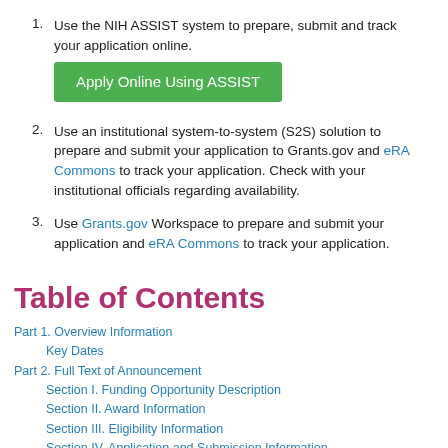1. Use the NIH ASSIST system to prepare, submit and track your application online.
2. Use an institutional system-to-system (S2S) solution to prepare and submit your application to Grants.gov and eRA Commons to track your application. Check with your institutional officials regarding availability.
3. Use Grants.gov Workspace to prepare and submit your application and eRA Commons to track your application.
Table of Contents
Part 1. Overview Information
Key Dates
Part 2. Full Text of Announcement
Section I. Funding Opportunity Description
Section II. Award Information
Section III. Eligibility Information
Section IV. Application and Submission Information
Section V. Application Review Information